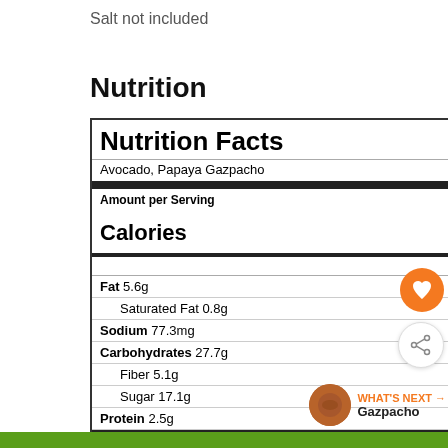Salt not included
Nutrition
| Nutrition Facts |
| Avocado, Papaya Gazpacho |
| Amount per Serving |
| Calories | 162 |
| % Daily Value* |
| Fat 5.6g | 9% |
| Saturated Fat 0.8g | 5% |
| Sodium 77.3mg | 3% |
| Carbohydrates 27.7g | 9% |
| Fiber 5.1g | 21% |
| Sugar 17.1g | 19% |
| Protein 2.5g | 5% |
| Vitamin A 200IU | 4% |
| Vitamin C 98.2mg | 119% |
| Calcium 40mg | 4% |
| Iron 1.3mg | 7% |
| * Percent Daily Values are based on a 2000 calorie diet. |